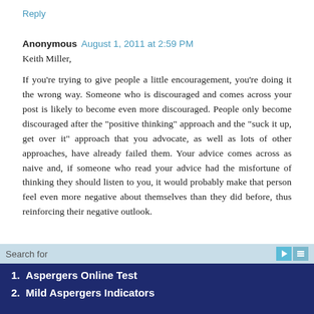Reply
Anonymous  August 1, 2011 at 2:59 PM
Keith Miller,
If you're trying to give people a little encouragement, you're doing it the wrong way. Someone who is discouraged and comes across your post is likely to become even more discouraged. People only become discouraged after the "positive thinking" approach and the "suck it up, get over it" approach that you advocate, as well as lots of other approaches, have already failed them. Your advice comes across as naive and, if someone who read your advice had the misfortune of thinking they should listen to you, it would probably make that person feel even more negative about themselves than they did before, thus reinforcing their negative outlook.
1.  Aspergers Online Test
2.  Mild Aspergers Indicators